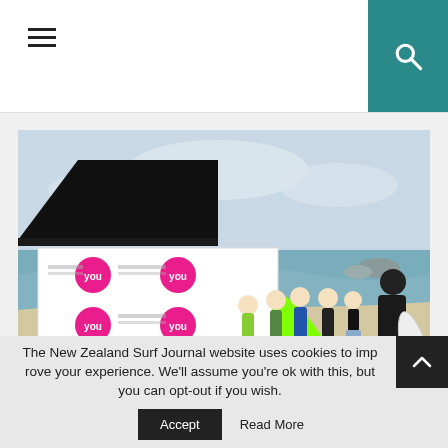Navigation header with hamburger menu and search icon
[Figure (photo): Beach scene with a group of young surfers in wetsuits holding surfboards near a branded 'you' event tent/banner, standing on sandy beach with ocean waves and rocks in background. An adult in a dark hoodie stands to the right.]
Finals day anticipation.
The New Zealand Surf Journal website uses cookies to improve your experience. We'll assume you're ok with this, but you can opt-out if you wish.
Accept
Read More